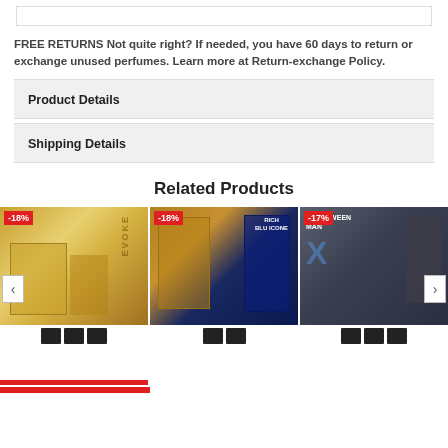FREE RETURNS Not quite right? If needed, you have 60 days to return or exchange unused perfumes. Learn more at Return-exchange Policy.
Product Details
Shipping Details
Related Products
[Figure (photo): Three related perfume products shown in a horizontal carousel: (1) Evoke perfume with -18% badge, gold packaging, (2) Rich Blu Icone perfume with -18% badge, gold and blue packaging, (3) Halloween Man X perfume with -17% badge, grey box with X design. Navigation arrows on left and right sides. Thumbnail dots below each product image. Red bar at bottom.]